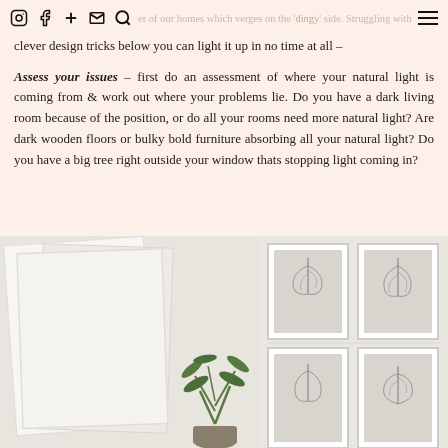Instagram Facebook + social mail search — corner of our homes which verges on the 'dingy' side. Struggling with little natural light isn't ideal but using some clever design tricks below you can light it up in no time at all –
Assess your issues – first do an assessment of where your natural light is coming from & work out where your problems lie. Do you have a dark living room because of the position, or do all your rooms need more natural light? Are dark wooden floors or bulky bold furniture absorbing all your natural light? Do you have a big tree right outside your window thats stopping light coming in?
[Figure (photo): A bright white interior room showing mirrors leaning against a wall on the left and framed botanical feather prints on the right side wall, with a small green plant visible in the center bottom.]